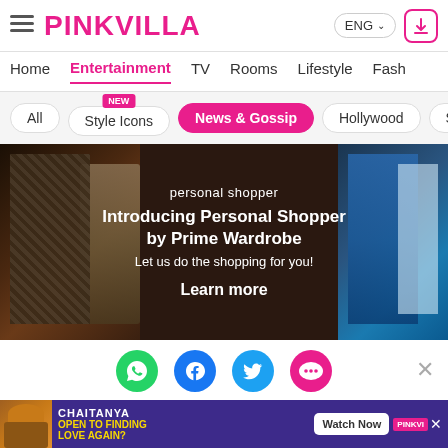PINKVILLA — ENG | Navigation: Home, Entertainment, TV, Rooms, Lifestyle, Fash...
All | Style Icons (NEW) | News & Gossip | Hollywood | So...
[Figure (photo): Advertisement banner showing clothing on hangers in a dark wooden wardrobe setting. Text overlay reads: 'personal shopper / Introducing Personal Shopper by Prime Wardrobe / Let us do the shopping for you! / Learn more']
[Figure (infographic): Social sharing icons row: WhatsApp (green), Facebook (blue), Twitter (light blue), More/chat (pink). Close X button on right.]
[Figure (screenshot): Bottom advertisement banner with purple background showing a man in brown jacket. Text: 'CHAITANYA / OPEN TO FINDING LOVE AGAIN?' with PINKVILLA logo and 'Watch Now' button.]